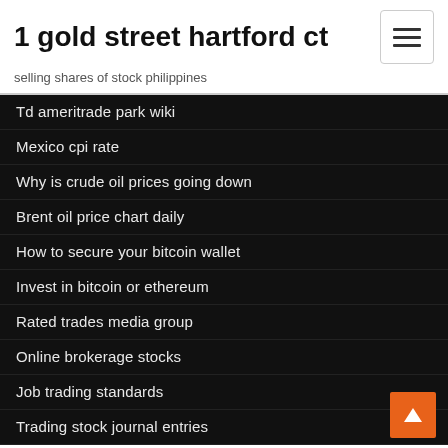1 gold street hartford ct
selling shares of stock philippines
Td ameritrade park wiki
Mexico cpi rate
Why is crude oil prices going down
Brent oil price chart daily
How to secure your bitcoin wallet
Invest in bitcoin or ethereum
Rated trades media group
Online brokerage stocks
Job trading standards
Trading stock journal entries